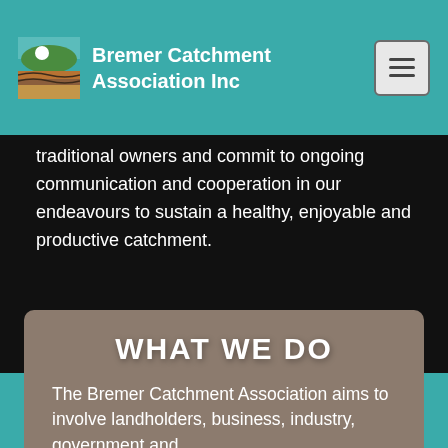Bremer Catchment Association Inc
traditional owners and commit to ongoing communication and cooperation in our endeavours to sustain a healthy, enjoyable and productive catchment.
WHAT WE DO
The Bremer Catchment Association aims to involve landholders, business, industry, government and